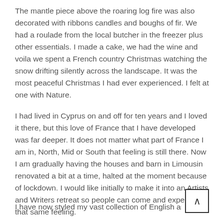The mantle piece above the roaring log fire was also decorated with ribbons candles and boughs of fir. We had a roulade from the local butcher in the freezer plus other essentials. I made a cake, we had the wine and voila we spent a French country Christmas watching the snow drifting silently across the landscape. It was the most peaceful Christmas I had ever experienced. I felt at one with Nature.
I had lived in Cyprus on and off for ten years and I loved it there, but this love of France that I have developed was far deeper. It does not matter what part of France I am in, North, Mid or South that feeling is still there. Now I am gradually having the houses and barn in Limousin renovated a bit at a time, halted at the moment because of lockdown. I would like initially to make it into an Artists and Writers retreat so people can come and experience that same feeling.
I have now styled my vast collection of English and Fren